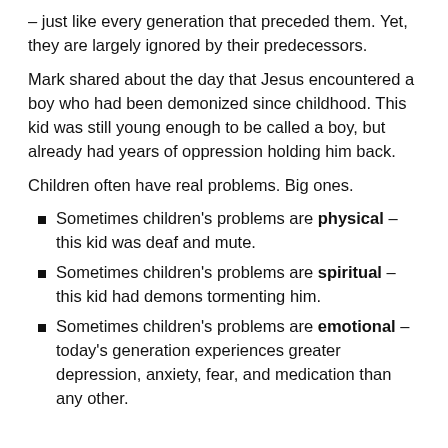– just like every generation that preceded them. Yet, they are largely ignored by their predecessors.
Mark shared about the day that Jesus encountered a boy who had been demonized since childhood. This kid was still young enough to be called a boy, but already had years of oppression holding him back.
Children often have real problems. Big ones.
Sometimes children's problems are physical – this kid was deaf and mute.
Sometimes children's problems are spiritual – this kid had demons tormenting him.
Sometimes children's problems are emotional – today's generation experiences greater depression, anxiety, fear, and medication than any other.